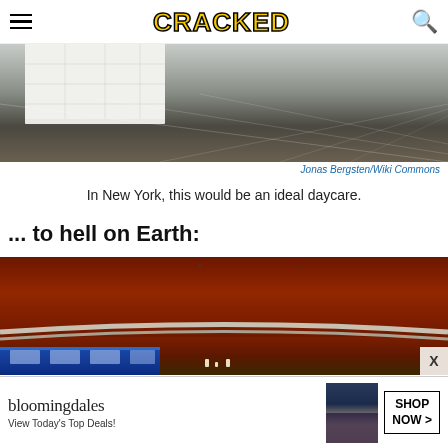CRACKED
[Figure (photo): Tiled floor and white block structure, clean indoor space]
Jonas Bergsten/Wiki Commons
In New York, this would be an ideal daycare.
... to hell on Earth:
[Figure (photo): Red/orange corroded ceiling of a subway station with blue train visible below]
[Figure (other): Bloomingdale's advertisement: View Today's Top Deals! SHOP NOW >]